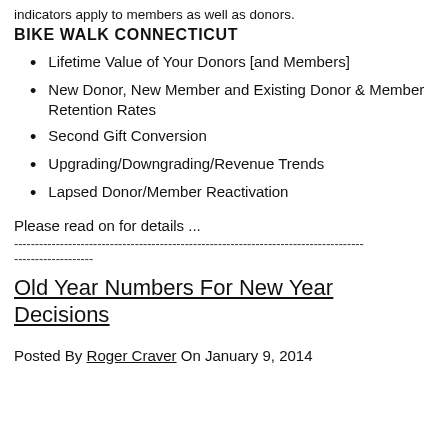indicators apply to members as well as donors.
BIKE WALK CONNECTICUT
Lifetime Value of Your Donors [and Members]
New Donor, New Member and Existing Donor & Member Retention Rates
Second Gift Conversion
Upgrading/Downgrading/Revenue Trends
Lapsed Donor/Member Reactivation
Please read on for details ...
------------------------------------------------------------------------------------
-------------------
Old Year Numbers For New Year Decisions
Posted By Roger Craver On January 9, 2014